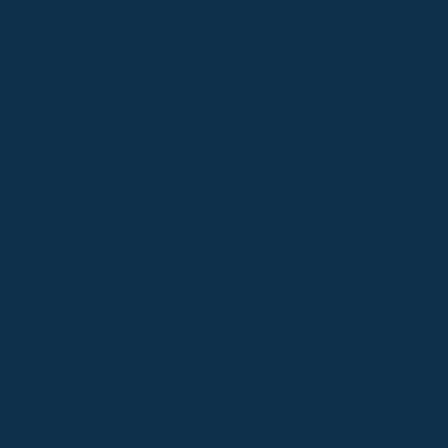Certified by National Radon Proficiency Program (NRPP)
NRPP Certification #1116714
Certified since February 2, 2021
Certification Expires: February 28, 2023
*** The state of Colorado requires that all contractors performing radon-related services within the state be licensed by the state.
*** Please check with your State...